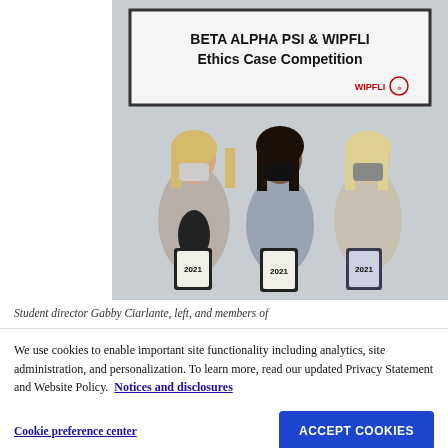[Figure (photo): Three women wearing face masks standing in front of a banner reading 'BETA ALPHA PSI & WIPFLI Ethics Case Competition' with the Wipfli logo. Each woman is holding a framed award/plaque.]
Student director Gabby Ciarlante, left, and members of
We use cookies to enable important site functionality including analytics, site administration, and personalization. To learn more, read our updated Privacy Statement and Website Policy. Notices and disclosures